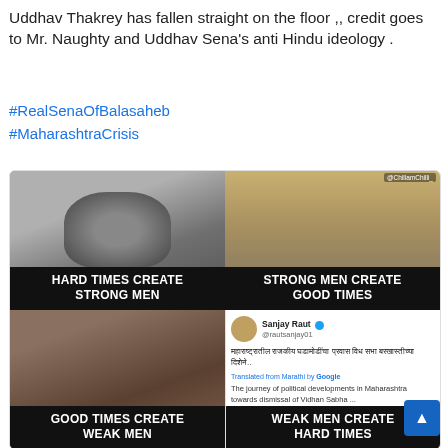Uddhav Thakrey has fallen straight on the floor ,, credit goes to Mr. Naughty and Uddhav Sena's anti Hindu ideology .
#RealSenaOfBalasaheb
#MaharashtraCrisis
[Figure (photo): A 2x2 meme grid. Top-left: black and white photo of a person, captioned 'HARD TIMES CREATE STRONG MEN'. Top-right: sepia photo of a person speaking at a podium before a large crowd, captioned 'STRONG MEN CREATE GOOD TIMES'. Bottom-left: color photo of politicians with a woman holding flowers, captioned 'GOOD TIMES CREATE WEAK MEN'. Bottom-right: screenshot of a tweet by Sanjay Raut @rautsanjay01 with Marathi text and Google translation 'The journey of political developments in Maharashtra towards dismissal of Vidhan Sabha...', captioned 'WEAK MEN CREATE HARD TIMES'.]